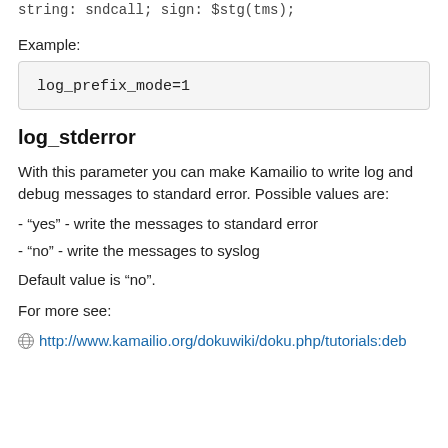string: sndcall; sign: $stg(tms);
Example:
log_prefix_mode=1
log_stderror
With this parameter you can make Kamailio to write log and debug messages to standard error. Possible values are:
- “yes” - write the messages to standard error
- “no” - write the messages to syslog
Default value is “no”.
For more see:
http://www.kamailio.org/dokuwiki/doku.php/tutorials:deb